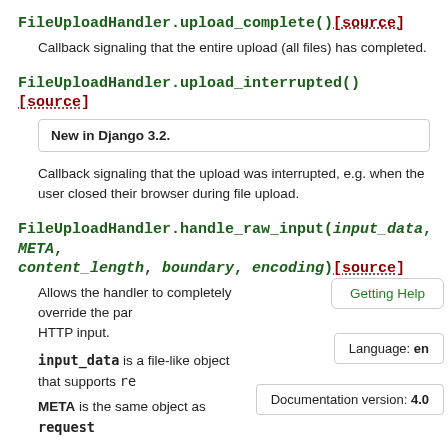FileUploadHandler.upload_complete()[source]
Callback signaling that the entire upload (all files) has completed.
FileUploadHandler.upload_interrupted()[source]
New in Django 3.2.
Callback signaling that the upload was interrupted, e.g. when the user closed their browser during file upload.
FileUploadHandler.handle_raw_input(input_data, META, content_length, boundary, encoding)[source]
Allows the handler to completely override the parsing of the raw HTTP input.
input_data is a file-like object that supports re
META is the same object as request
content_length is the length of the data in input_data. Don't